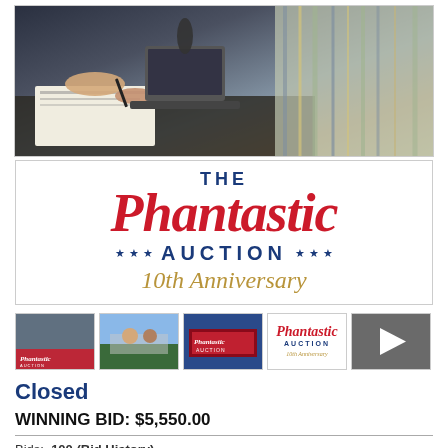[Figure (photo): Photo of people at a table, hands visible, auction setting]
[Figure (logo): The Phantastic Auction 10th Anniversary logo with red script Phantastic, blue AUCTION text with stars]
[Figure (photo): Row of 5 thumbnails: auction scenes, logo, and video play button]
Closed
WINNING BID: $5,550.00
Bids: 100 (Bid History)
Increment: $10.00